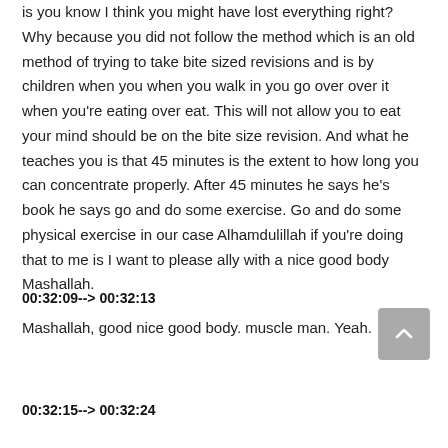is you know I think you might have lost everything right? Why because you did not follow the method which is an old method of trying to take bite sized revisions and is by children when you when you walk in you go over over it when you're eating over eat. This will not allow you to eat your mind should be on the bite size revision. And what he teaches you is that 45 minutes is the extent to how long you can concentrate properly. After 45 minutes he says he's book he says go and do some exercise. Go and do some physical exercise in our case Alhamdulillah if you're doing that to me is I want to please ally with a nice good body Mashallah.
00:32:09--> 00:32:13
Mashallah, good nice good body. muscle man. Yeah.
00:32:15--> 00:32:24